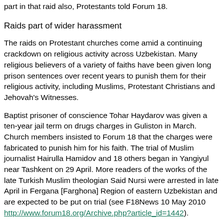part in that raid also, Protestants told Forum 18.
Raids part of wider harassment
The raids on Protestant churches come amid a continuing crackdown on religious activity across Uzbekistan. Many religious believers of a variety of faiths have been given long prison sentences over recent years to punish them for their religious activity, including Muslims, Protestant Christians and Jehovah's Witnesses.
Baptist prisoner of conscience Tohar Haydarov was given a ten-year jail term on drugs charges in Guliston in March. Church members insisted to Forum 18 that the charges were fabricated to punish him for his faith. The trial of Muslim journalist Hairulla Hamidov and 18 others began in Yangiyul near Tashkent on 29 April. More readers of the works of the late Turkish Muslim theologian Said Nursi were arrested in late April in Fergana [Farghona] Region of eastern Uzbekistan and are expected to be put on trial (see F18News 10 May 2010 http://www.forum18.org/Archive.php?article_id=1442).
Five-hour raid